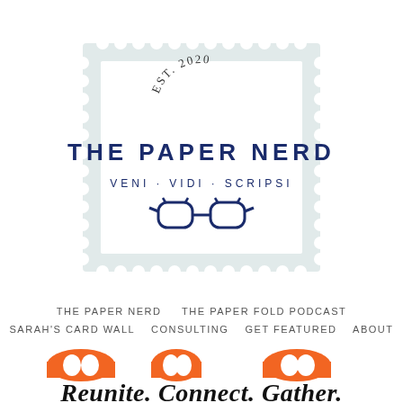[Figure (logo): The Paper Nerd logo styled as a postage stamp with perforated edges. Inside: 'EST. 2020' in arched text at top, 'THE PAPER NERD' in large bold navy sans-serif, 'VENI · VIDI · SCRIPSI' in spaced navy text, and a navy glasses icon below.]
THE PAPER NERD    THE PAPER FOLD PODCAST
SARAH'S CARD WALL    CONSULTING    GET FEATURED    ABOUT
[Figure (logo): Orange graphic shapes resembling stylized faces/icons above handwritten script text reading 'Reunite. Connect. Gather.' in black brush lettering.]